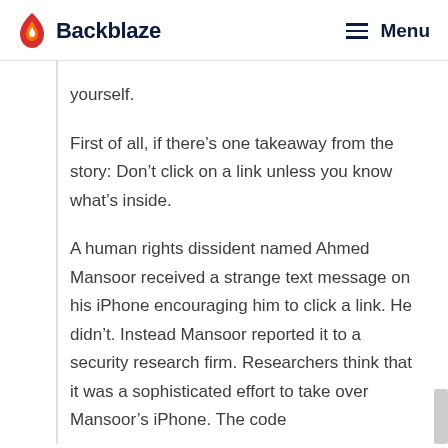Backblaze  Menu
yourself.
First of all, if there’s one takeaway from the story: Don’t click on a link unless you know what’s inside.
A human rights dissident named Ahmed Mansoor received a strange text message on his iPhone encouraging him to click a link. He didn’t. Instead Mansoor reported it to a security research firm. Researchers think that it was a sophisticated effort to take over Mansoor’s iPhone. The code